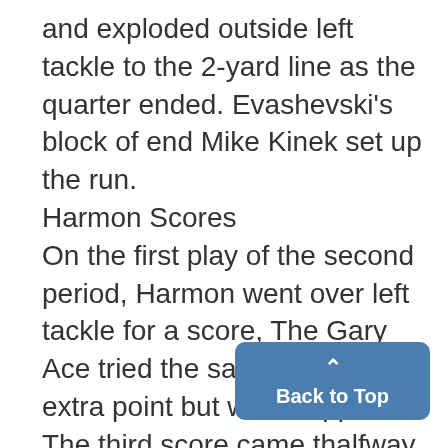and exploded outside left tackle to the 2-yard line as the quarter ended. Evashevski's block of end Mike Kinek set up the run.
Harmon Scores
On the first play of the second period, Harmon went over left tackle for a score, The Gary Ace tried the same spot for the extra point but was stopped.
The third score came thalfway through the period when Krom quick-kicked from hiswown 20 Pearce's head to the State 16 where